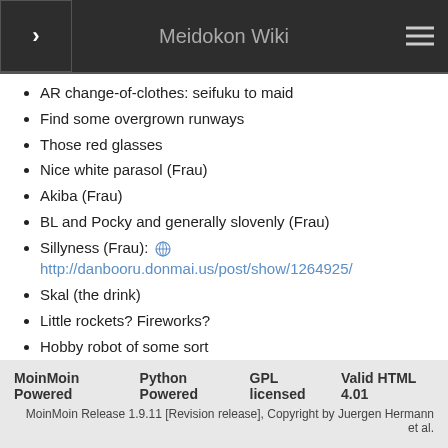Meidokon Wiki
AR change-of-clothes: seifuku to maid
Find some overgrown runways
Those red glasses
Nice white parasol (Frau)
Akiba (Frau)
BL and Pocky and generally slovenly (Frau)
Sillyness (Frau): http://danbooru.donmai.us/post/show/1264925/
Skal (the drink)
Little rockets? Fireworks?
Hobby robot of some sort
Can little motor scooters be rented?
MeidokonWiki: furinkan/cosplay/Robotics_Notes (last edited 2018-09-01 09:41:36 by furinkan)
MoinMoin Powered  Python Powered  GPL licensed  Valid HTML 4.01
MoinMoin Release 1.9.11 [Revision release], Copyright by Juergen Hermann et al.